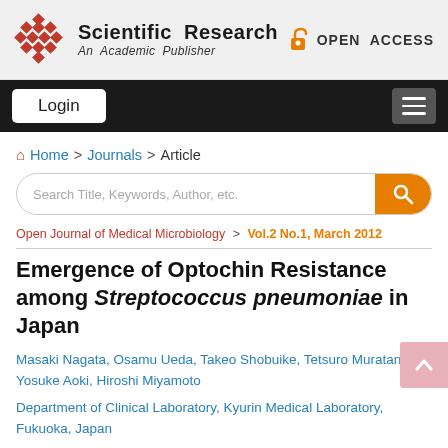Scientific Research — An Academic Publisher | OPEN ACCESS
Login
Home > Journals > Article
Search Title, Keywords, Author, etc.
Open Journal of Medical Microbiology > Vol.2 No.1, March 2012
Emergence of Optochin Resistance among Streptococcus pneumoniae in Japan
Masaki Nagata, Osamu Ueda, Takeo Shobuike, Tetsuro Muratani, Yosuke Aoki, Hiroshi Miyamoto
Department of Clinical Laboratory, Kyurin Medical Laboratory, Fukuoka, Japan